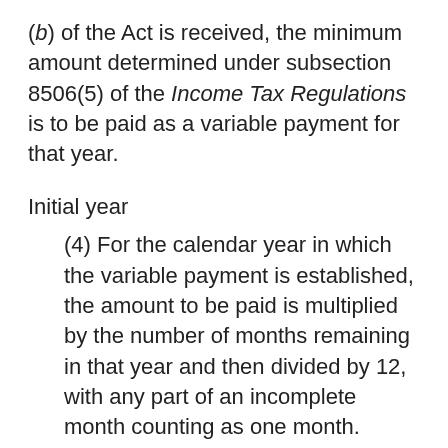(b) of the Act is received, the minimum amount determined under subsection 8506(5) of the Income Tax Regulations is to be paid as a variable payment for that year.
Initial year
(4) For the calendar year in which the variable payment is established, the amount to be paid is multiplied by the number of months remaining in that year and then divided by 12, with any part of an incomplete month counting as one month.
TRANSFER OF FUNDS AND PURCHASE OF LIFE ANNUITIES